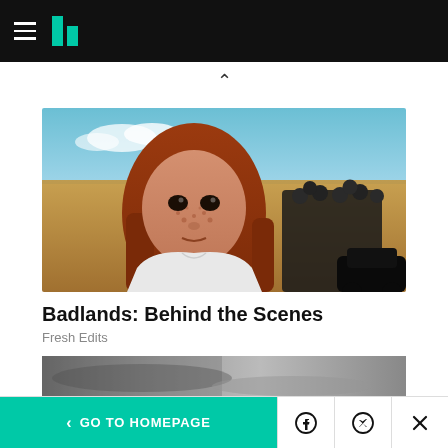HuffPost navigation bar with logo
[Figure (photo): A young red-haired freckled girl in a white blouse looks intensely at the camera, with a desert landscape and group of soldiers/people in dark clothing in the background. Film still from Badlands.]
Badlands: Behind the Scenes
Fresh Edits
[Figure (photo): Partial view of a second image, appears to be a grayscale/black and white photo, partially cut off at bottom of page.]
< GO TO HOMEPAGE